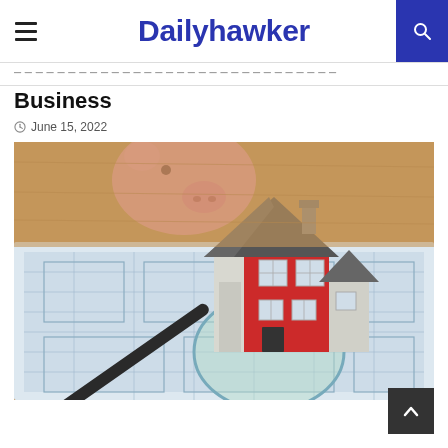Dailyhawker
Business
June 15, 2022
[Figure (photo): A miniature model house with a red exterior and grey roof placed on top of architectural blueprints, alongside a magnifying glass and a pink piggy bank in the background on a wooden surface.]